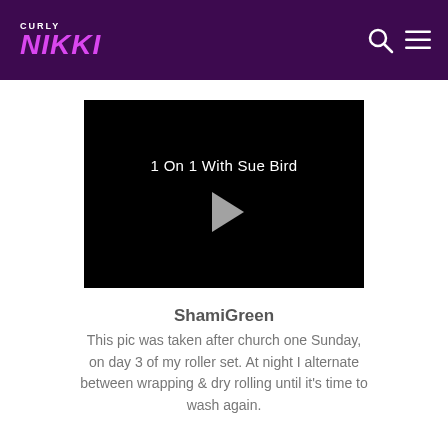CURLY NIKKI
[Figure (screenshot): Video thumbnail with black background showing title '1 On 1 With Sue Bird' and a play button triangle in the center]
ShamiGreen
This pic was taken after church one Sunday, on day 3 of my roller set. At night I alternate between wrapping & dry rolling until it's time to wash again.